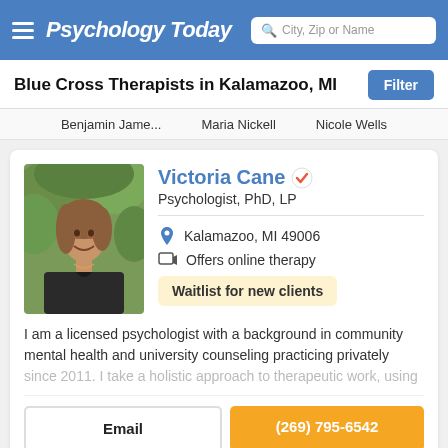Psychology Today — City, Zip or Name search
Blue Cross Therapists in Kalamazoo, MI
Benjamin Jame...   Maria Nickell   Nicole Wells
Victoria Cane — Psychologist, PhD, LP
Kalamazoo, MI 49006
Offers online therapy
Waitlist for new clients
I am a licensed psychologist with a background in community mental health and university counseling practicing privately since 2011. I take a holistic approach to therapeutic work, using
Email   (269) 795-6542